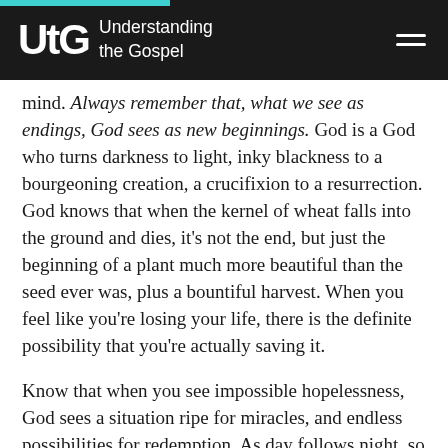UtG Understanding the Gospel
mind. Always remember that, what we see as endings, God sees as new beginnings. God is a God who turns darkness to light, inky blackness to a bourgeoning creation, a crucifixion to a resurrection. God knows that when the kernel of wheat falls into the ground and dies, it’s not the end, but just the beginning of a plant much more beautiful than the seed ever was, plus a bountiful harvest. When you feel like you’re losing your life, there is the definite possibility that you’re actually saving it.
Know that when you see impossible hopelessness, God sees a situation ripe for miracles, and endless possibilities for redemption. As day follows night, so there is always something ahead to look forward to,